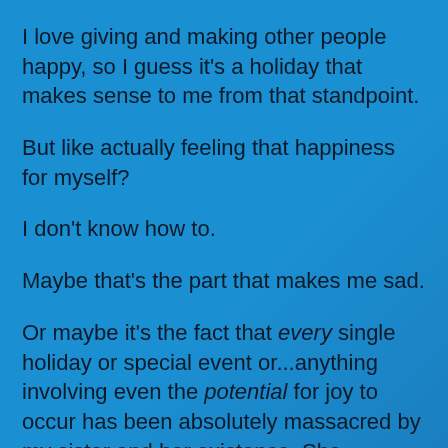I love giving and making other people happy, so I guess it's a holiday that makes sense to me from that standpoint.
But like actually feeling that happiness for myself?
I don't know how to.
Maybe that's the part that makes me sad.
Or maybe it's the fact that every single holiday or special event or...anything involving even the potential for joy to occur has been absolutely massacred by my sister and her existence. She